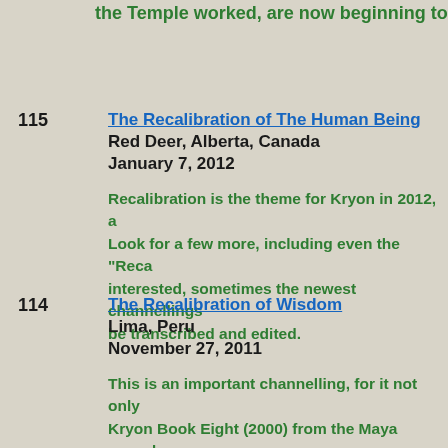the Temple worked, are now beginning to be re
115 — The Recalibration of The Human Being
Red Deer, Alberta, Canada
January 7, 2012

Recalibration is the theme for Kryon in 2012, a Look for a few more, including even the "Reca interested, sometimes the newest channellings be transcribed and edited.
114 — The Recalibration of Wisdom
Lima, Peru
November 27, 2011

This is an important channelling, for it not only Kryon Book Eight (2000) from the Maya regard qualifies a misconception about how the wisdo moving, but rather recalibrating to a more gen channellings given on this page.